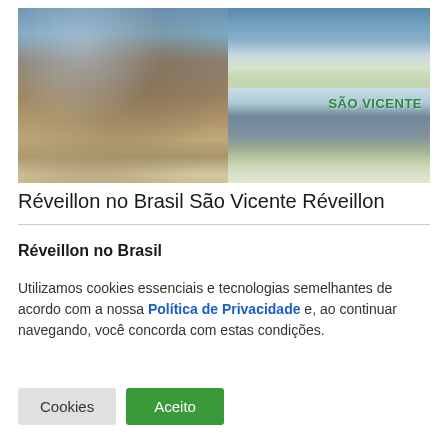[Figure (photo): Photo collage showing coastal scenes of São Vicente, Brazil. Left: rocky seashore with waves. Top right: aerial view of beach and city buildings. Bottom right: beachfront promenade with palm trees and city skyline, with text 'SÃO VICENTE' in green.]
Réveillon no Brasil São Vicente Réveillon
Réveillon no Brasil
Utilizamos cookies essenciais e tecnologias semelhantes de acordo com a nossa Política de Privacidade e, ao continuar navegando, você concorda com estas condições.
Cookies
Aceito